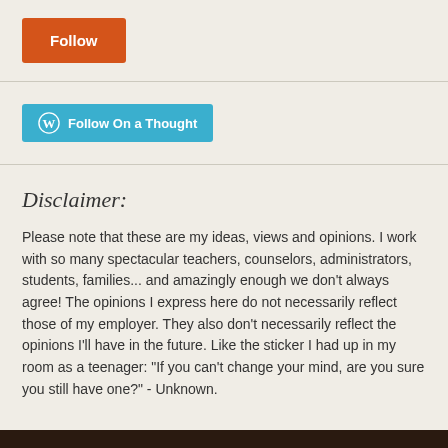[Figure (other): Orange 'Follow' button]
[Figure (other): Teal WordPress 'Follow On a Thought' button with WordPress logo]
Disclaimer:
Please note that these are my ideas, views and opinions. I work with so many spectacular teachers, counselors, administrators, students, families... and amazingly enough we don't always agree! The opinions I express here do not necessarily reflect those of my employer. They also don't necessarily reflect the opinions I'll have in the future. Like the sticker I had up in my room as a teenager: "If you can't change your mind, are you sure you still have one?" - Unknown.